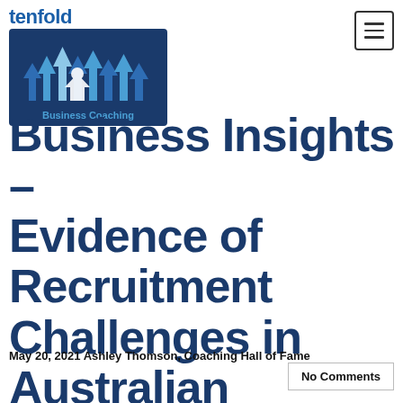[Figure (logo): Tenfold Business Coaching logo: dark blue rectangle with upward-pointing arrows in varying shades of blue, text 'tenfold' above in blue, 'Business Coaching' below in blue.]
Business Insights – Evidence of Recruitment Challenges in Australian Markets in 2021-2022
May 20, 2021 Ashley Thomson, Coaching Hall of Fame
No Comments